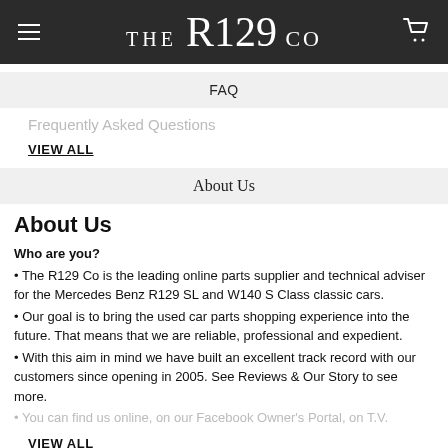THE R129 CO
FAQ
Frequently Asked Questions
VIEW ALL
About Us
About Us
Who are you?
• The R129 Co is the leading online parts supplier and technical adviser for the Mercedes Benz R129 SL and W140 S Class classic cars.
• Our goal is to bring the used car parts shopping experience into the future. That means that we are reliable, professional and expedient.
• With this aim in mind we have built an excellent track record with our customers since opening in 2005. See Reviews & Our Story to see more.
• You can find us online, on our Facebook Owner's Portal, on T.V.
VIEW ALL